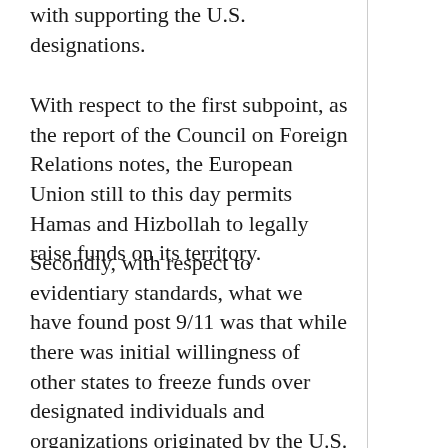with supporting the U.S. designations.
With respect to the first subpoint, as the report of the Council on Foreign Relations notes, the European Union still to this day permits Hamas and Hizbollah to legally raise funds on its territory.
Secondly, with respect to evidentiary standards, what we have found post 9/11 was that while there was initial willingness of other states to freeze funds over designated individuals and organizations originated by the U.S. Government, that willingness faded as the months went on and foreign states asked for increasingly sensitive intelligence information that supported the original U.S. designations, which when it